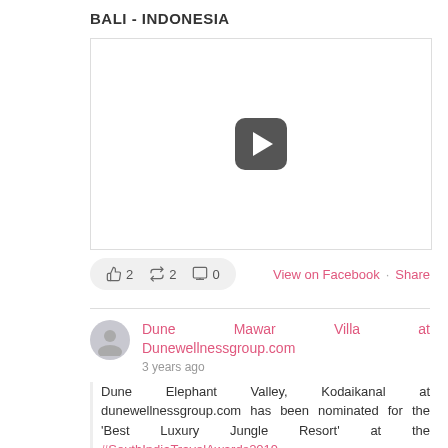BALI - INDONESIA
[Figure (screenshot): White video player box with a dark rounded-rectangle play button in the center]
👍 2  🔁 2  💬 0   View on Facebook · Share
Dune Mawar Villa at Dunewellnessgroup.com
3 years ago
Dune Elephant Valley, Kodaikanal at dunewellnessgroup.com has been nominated for the 'Best Luxury Jungle Resort' at the #SouthIndiaTravelAwards2019.
🏆